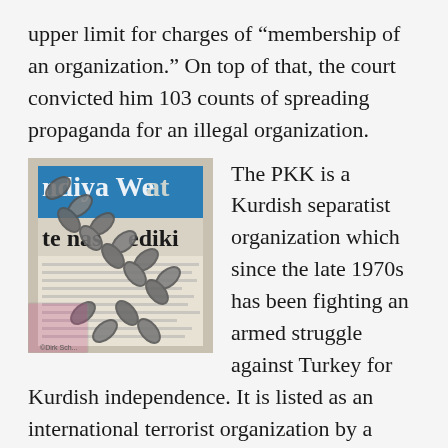upper limit for charges of “membership of an organization.” On top of that, the court convicted him 103 counts of spreading propaganda for an illegal organization.
[Figure (photo): Newspaper with Kurdish text on the front page, wrapped in heavy metal chains, suggesting press censorship or suppression of Kurdish media.]
The PKK is a Kurdish separatist organization which since the late 1970s has been fighting an armed struggle against Turkey for Kurdish independence. It is listed as an international terrorist organization by a number of states and organizations, including the United States, United Nations, NATO and the European Union.
Said Reporters Without Borders: “In the final hearing